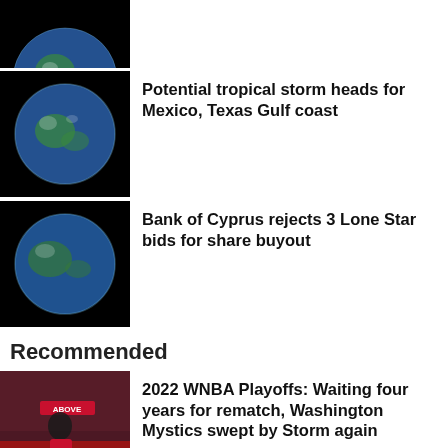[Figure (photo): Partial view of Earth from space against black background (top, cropped)]
[Figure (photo): Earth from space against black background]
Potential tropical storm heads for Mexico, Texas Gulf coast
[Figure (photo): Earth from space against black background]
Bank of Cyprus rejects 3 Lone Star bids for share buyout
Recommended
[Figure (photo): WNBA basketball player wearing jersey number 32, mid-game action shot with crowd in background, ABOVE signage visible]
2022 WNBA Playoffs: Waiting four years for rematch, Washington Mystics swept by Storm again
[Figure (photo): Partial thumbnail, grey/light colored, bottom of page]
[Figure (infographic): Advertisement: Snell Heating Cooling Plumbing logo on white background left, dark blue background right with text SAME DAY COOLING TUNE-UP, INSTALL, AND REPAIR OR IT'S FREE!]